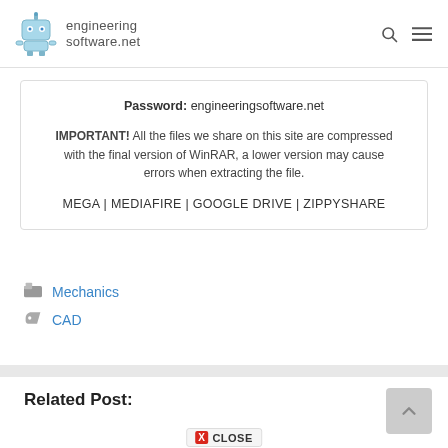engineeringsoftware.net
Password: engineeringsoftware.net
IMPORTANT! All the files we share on this site are compressed with the final version of WinRAR, a lower version may cause errors when extracting the file.
MEGA | MEDIAFIRE | GOOGLE DRIVE | ZIPPYSHARE
Mechanics
CAD
Related Post: